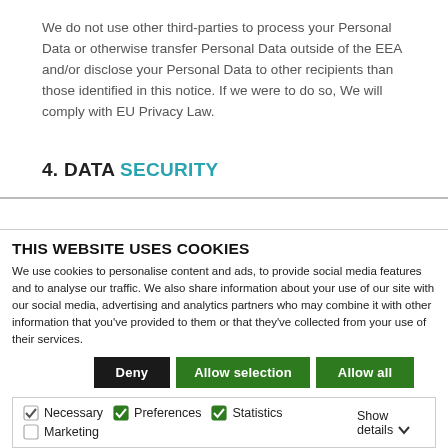We do not use other third-parties to process your Personal Data or otherwise transfer Personal Data outside of the EEA and/or disclose your Personal Data to other recipients than those identified in this notice. If we were to do so, We will comply with EU Privacy Law.
4. DATA SECURITY
THIS WEBSITE USES COOKIES
We use cookies to personalise content and ads, to provide social media features and to analyse our traffic. We also share information about your use of our site with our social media, advertising and analytics partners who may combine it with other information that you've provided to them or that they've collected from your use of their services.
Deny | Allow selection | Allow all
Necessary  Preferences  Statistics  Marketing  Show details